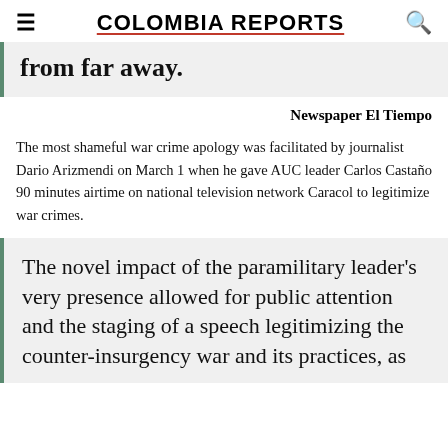COLOMBIA REPORTS
from far away.
Newspaper El Tiempo
The most shameful war crime apology was facilitated by journalist Dario Arizmendi on March 1 when he gave AUC leader Carlos Castaño 90 minutes airtime on national television network Caracol to legitimize war crimes.
The novel impact of the paramilitary leader's very presence allowed for public attention and the staging of a speech legitimizing the counter-insurgency war and its practices, as